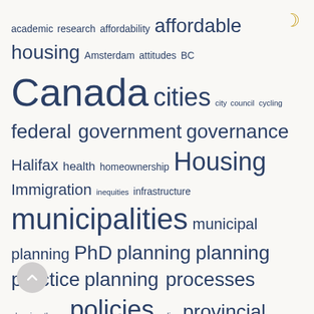[Figure (infographic): Word cloud related to urban planning, housing, and Canadian cities. Words sized by frequency. Terms include: academic research, affordability, affordable housing, Amsterdam, attitudes, BC, Canada, cities, city council, cycling, federal government, governance, Halifax, health, homeownership, Housing, Immigration, inequities, infrastructure, municipalities, municipal planning, PhD, planning, planning practice, planning processes, planning theory, policies, policy, provincial government, provincial planning, regional planning, renting, research, Social geography, social planning, Toronto, transit, Transportation, Urban design, urban development, urban growth, urban planning, US, Vancouver, walking.]